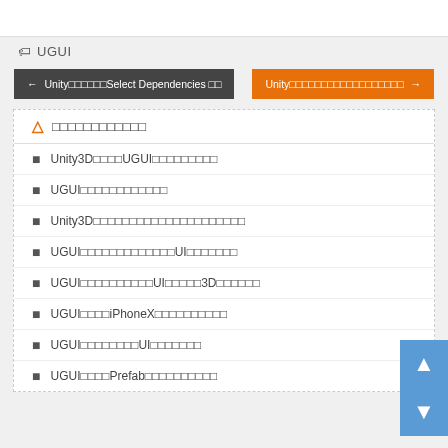🏷 UGUI
← Unity□□□□□□Select Dependencies □□
Unity□□□□□□□□□□□□□□□□□□□□ →
⚠ □□□□□□□□□□□□
Unity3D□□□□UGUI□□□□□□□□□
UGUI□□□□□□□□□□□□
Unity3D□□□□□□□□□□□□□□□□□□□□□
UGUI□□□□□□□□□□□□□□□UI□□□□□□□
UGUI□□□□□□□□□□□UI□□□□□□□3D□□□□□□□
UGUI□□□□iPhoneX□□□□□□□□□□
UGUI□□□□□□□□□UI□□□□□□□□
UGUI□□□□Prefab□□□□□□□□□□